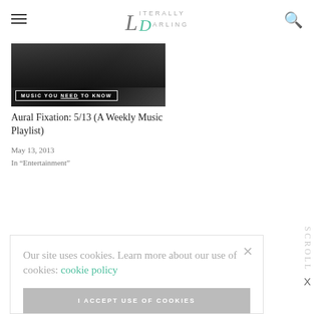Literally Darling
[Figure (photo): Dark concert/crowd photo with text overlay reading 'MUSIC YOU NEED TO KNOW']
Aural Fixation: 5/13 (A Weekly Music Playlist)
May 13, 2013
In "Entertainment"
Our site uses cookies. Learn more about our use of cookies: cookie policy
I ACCEPT USE OF COOKIES